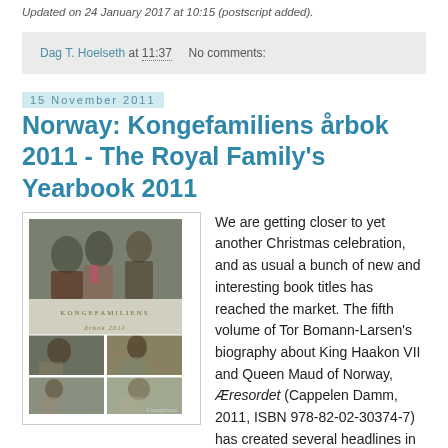Updated on 24 January 2017 at 10:15 (postscript added).
Dag T. Hoelseth at 11:37   No comments:
15 November 2011
Norway: Kongefamiliens årbok 2011 - The Royal Family's Yearbook 2011
[Figure (photo): Book cover of Kongefamiliens årbok 2011 featuring a photo collage of the Norwegian royal family]
We are getting closer to yet another Christmas celebration, and as usual a bunch of new and interesting book titles has reached the market. The fifth volume of Tor Bomann-Larsen's biography about King Haakon VII and Queen Maud of Norway, Æresordet (Cappelen Damm, 2011, ISBN 978-82-02-30374-7) has created several headlines in the newspapers and is expected to sell